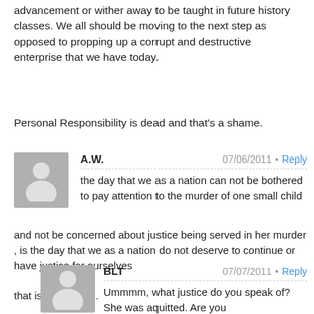advancement or wither away to be taught in future history classes. We all should be moving to the next step as opposed to propping up a corrupt and destructive enterprise that we have today.
Personal Responsibility is dead and that's a shame.
A.W.  07/06/2011  •  Reply
the day that we as a nation can not be bothered to pay attention to the murder of one small child and not be concerned about justice being served in her murder , is the day that we as a nation do not deserve to continue or have justice for ourselves

that is my opinion.
BLT  07/07/2011  •  Reply
Ummmm, what justice do you speak of? She was aquitted. Are you